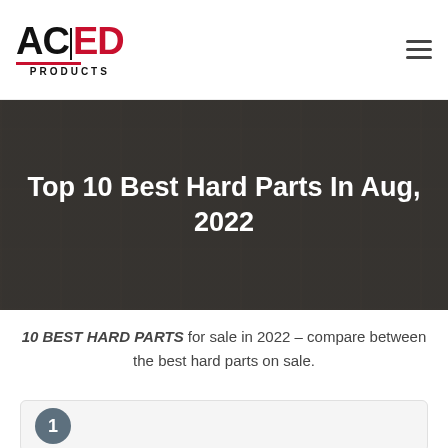ACED PRODUCTS (logo) | hamburger menu
[Figure (photo): Dark overlay photo of a person working on a laptop at a desk, used as a hero banner background.]
Top 10 Best Hard Parts In Aug, 2022
10 BEST HARD PARTS for sale in 2022 – compare between the best hard parts on sale.
1 (numbered card item)